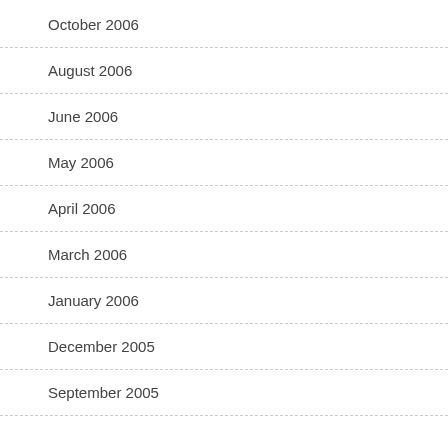October 2006
August 2006
June 2006
May 2006
April 2006
March 2006
January 2006
December 2005
September 2005